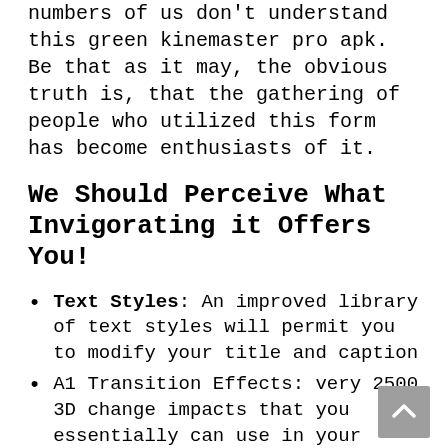numbers of us don't understand this green kinemaster pro apk. Be that as it may, the obvious truth is, that the gathering of people who utilized this form has become enthusiasts of it.
We Should Perceive What Invigorating it Offers You!
Text Styles: An improved library of text styles will permit you to modify your title and caption
A1 Transition Effects: very 2500 3D change impacts that you essentially can use in your video to shape it more eye-satisfying
Speed Controls: For changing and setting the satisfactory beat for your